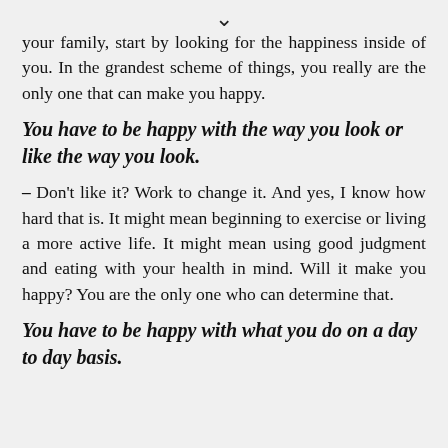your family, start by looking for the happiness inside of you. In the grandest scheme of things, you really are the only one that can make you happy.
You have to be happy with the way you look or like the way you look.
– Don't like it? Work to change it. And yes, I know how hard that is. It might mean beginning to exercise or living a more active life. It might mean using good judgment and eating with your health in mind. Will it make you happy? You are the only one who can determine that.
You have to be happy with what you do on a day to day basis.